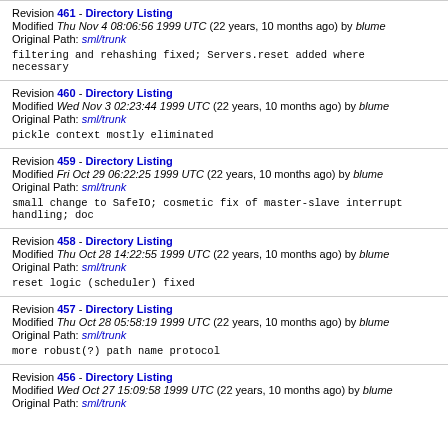Revision 461 - Directory Listing
Modified Thu Nov 4 08:06:56 1999 UTC (22 years, 10 months ago) by blume
Original Path: sml/trunk
filtering and rehashing fixed; Servers.reset added where necessary
Revision 460 - Directory Listing
Modified Wed Nov 3 02:23:44 1999 UTC (22 years, 10 months ago) by blume
Original Path: sml/trunk
pickle context mostly eliminated
Revision 459 - Directory Listing
Modified Fri Oct 29 06:22:25 1999 UTC (22 years, 10 months ago) by blume
Original Path: sml/trunk
small change to SafeIO; cosmetic fix of master-slave interrupt handling; doc
Revision 458 - Directory Listing
Modified Thu Oct 28 14:22:55 1999 UTC (22 years, 10 months ago) by blume
Original Path: sml/trunk
reset logic (scheduler) fixed
Revision 457 - Directory Listing
Modified Thu Oct 28 05:58:19 1999 UTC (22 years, 10 months ago) by blume
Original Path: sml/trunk
more robust(?) path name protocol
Revision 456 - Directory Listing
Modified Wed Oct 27 15:09:58 1999 UTC (22 years, 10 months ago) by blume
Original Path: sml/trunk